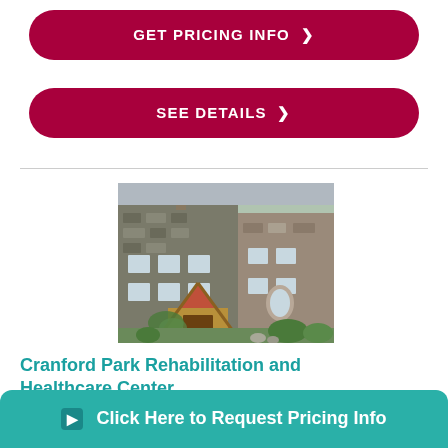GET PRICING INFO >
SEE DETAILS >
[Figure (photo): Exterior photo of Cranford Park Rehabilitation and Healthcare Center building, a stone building with a red-roofed entrance and landscaping.]
Cranford Park Rehabilitation and Healthcare Center
600 Lincoln Park East
Cranford, NJ 07016
(6 Reviews)
Click Here to Request Pricing Info